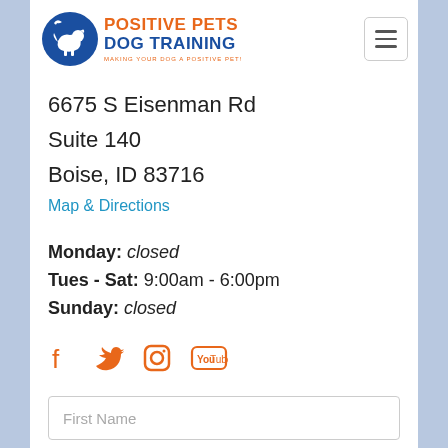[Figure (logo): Positive Pets Dog Training logo with blue circle containing dog and bird silhouettes, orange and blue text reading POSITIVE PETS DOG TRAINING, tagline MAKING YOUR DOG A POSITIVE PET!]
6675 S Eisenman Rd
Suite 140
Boise, ID 83716
Map & Directions
Monday: closed
Tues - Sat: 9:00am - 6:00pm
Sunday: closed
[Figure (illustration): Social media icons: Facebook, Twitter, Instagram, YouTube in orange color]
First Name